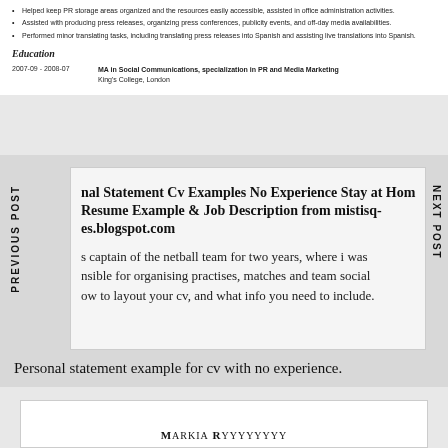Helped keep PR storage areas organized and the resources easily accessible, assisted in office administration activities.
Assisted with producing press releases, organizing press conferences, publicity events, and off-day media availabilities.
Performed minor translating tasks, including translating press releases into Spanish and assisting live translations into Spanish.
Education
2007-09 - 2008-07   MA in Social Communications, specialization in PR and Media Marketing  King's College, London
nal Statement Cv Examples No Experience Stay at Home Resume Example & Job Description from mistisq-es.blogspot.com
s captain of the netball team for two years, where i was nsible for organising practises, matches and team social ow to layout your cv, and what info you need to include.
Personal statement example for cv with no experience.
MARKIA RYYYYYYYY